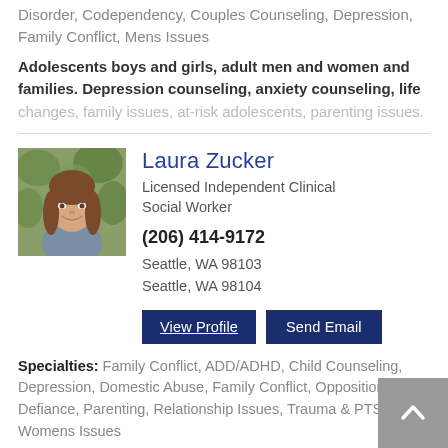Disorder, Codependency, Couples Counseling, Depression, Family Conflict, Mens Issues
Adolescents boys and girls, adult men and women and families. Depression counseling, anxiety counseling, life changes, family issues, at-risk adolescents, parenting issues.
[Figure (photo): Portrait photo of Laura Zucker, a young woman with long brown hair and bangs, smiling, wearing a blue-grey top, with green foliage in the background.]
Laura Zucker
Licensed Independent Clinical Social Worker
(206) 414-9172
Seattle, WA 98103
Seattle, WA 98104
Specialties: Family Conflict, ADD/ADHD, Child Counseling, Depression, Domestic Abuse, Family Conflict, Oppositional Defiance, Parenting, Relationship Issues, Trauma & PTSD, Womens Issues
Everyone experiences difficult times in their lives. Whether it's struggling with a difficult relationship, work or school, anxiety, depression, or problems in your family or social life, you're